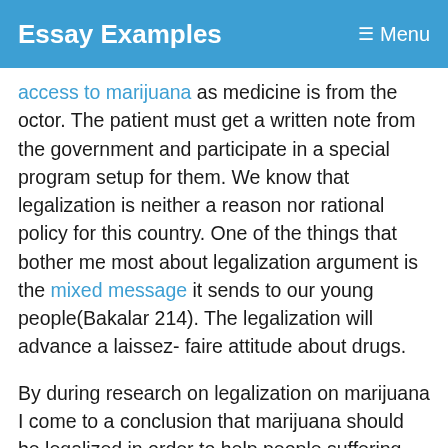Essay Examples | Menu
access to marijuana as medicine is from the octor. The patient must get a written note from the government and participate in a special program setup for them. We know that legalization is neither a reason nor rational policy for this country. One of the things that bother me most about legalization argument is the mixed message it sends to our young people(Bakalar 214). The legalization will advance a laissez- faire attitude about drugs.
By during research on legalization on marijuana I come to a conclusion that marijuana should be legalized in order to help people suffering from terminal diseases such as AIDS, Cancer and Glaucoma. Prohibition of marijuana over the ast the element of the d